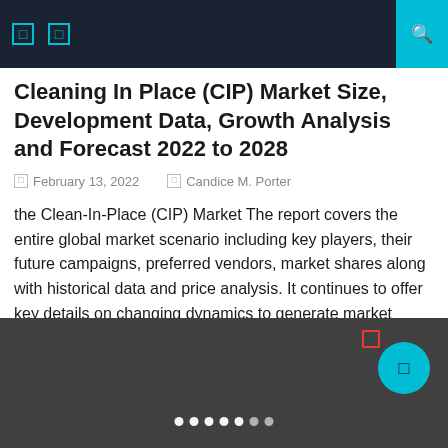Navigation bar with menu icons
Cleaning In Place (CIP) Market Size, Development Data, Growth Analysis and Forecast 2022 to 2028
February 13, 2022   Candice M. Porter
the Clean-In-Place (CIP) Market The report covers the entire global market scenario including key players, their future campaigns, preferred vendors, market shares along with historical data and price analysis. It continues to offer key details on changing dynamics to generate market improving factors. Its objective is to rationalize the company's costs. You can also find [...]
[Figure (photo): Dark grey background image area with teal circular button and white dots navigation indicator at bottom]